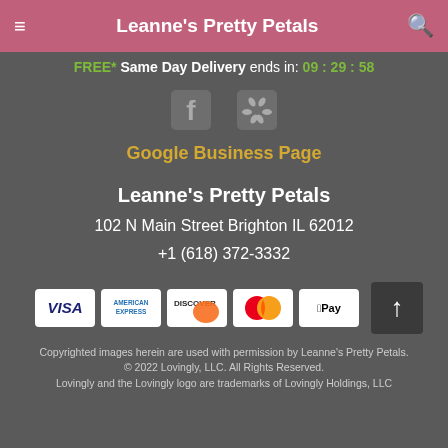Leanne's Pretty Petals
FREE* Same Day Delivery ends in: 09 : 29 : 58
[Figure (logo): Facebook and Yelp social media icons]
Google Business Page
Leanne's Pretty Petals
102 N Main Street Brighton IL 62012
+1 (618) 372-3332
[Figure (other): Payment method logos: Visa, American Express, Discover, Mastercard, Apple Pay, and scroll-to-top button]
Copyrighted images herein are used with permission by Leanne's Pretty Petals.
© 2022 Lovingly, LLC. All Rights Reserved.
Lovingly and the Lovingly logo are trademarks of Lovingly Holdings, LLC